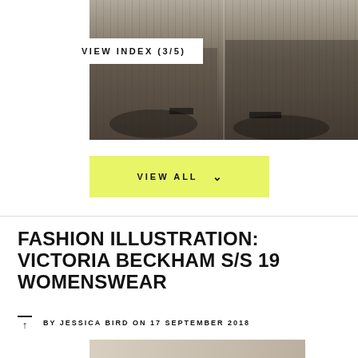[Figure (photo): Fashion show runway photo showing models walking, visible from waist down, with audience seated in background. Decorative black-and-white patterned floor.]
VIEW INDEX (3/5)
VIEW ALL
FASHION ILLUSTRATION: VICTORIA BECKHAM S/S 19 WOMENSWEAR
BY JESSICA BIRD ON 17 SEPTEMBER 2018
[Figure (photo): Bottom partial photo, cropped, showing fashion illustration content.]